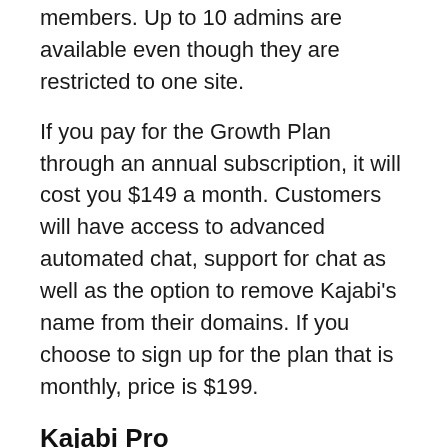members. Up to 10 admins are available even though they are restricted to one site.
If you pay for the Growth Plan through an annual subscription, it will cost you $149 a month. Customers will have access to advanced automated chat, support for chat as well as the option to remove Kajabi’s name from their domains. If you choose to sign up for the plan that is monthly, price is $199.
Kajabi Pro
The latest model of the program is called the Pro Plan, which allows users to have access to 100 products and pipelines 100,000 contacts, 20,000 active members, and 3